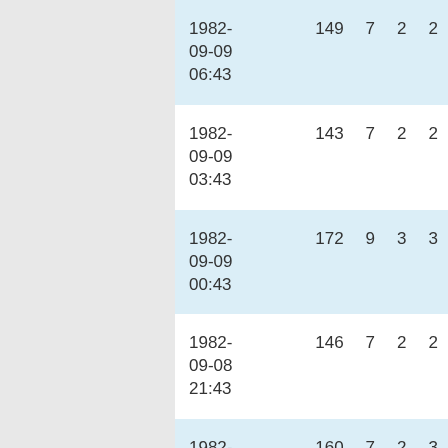| datetime | col1 | col2 | col3 | col4 |
| --- | --- | --- | --- | --- |
| 1982-09-09 06:43 | 149 | 7 | 2 | 2 |
| 1982-09-09 03:43 | 143 | 7 | 2 | 2 |
| 1982-09-09 00:43 | 172 | 9 | 3 | 3 |
| 1982-09-08 21:43 | 146 | 7 | 2 | 2 |
| 1982-09-08 18:43 | 160 | 7 | 2 | 3 |
| 1982-09-08 09:43 | 174 | 7 | 3 | 4 |